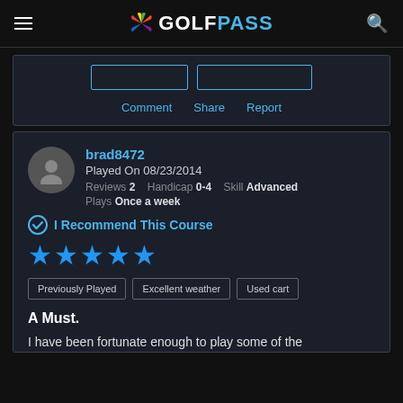GOLFPASS
[Figure (screenshot): Partial upper review card with two outline buttons and Comment, Share, Report action links]
brad8472
Played On 08/23/2014
Reviews 2  Handicap 0-4  Skill Advanced
Plays Once a week
I Recommend This Course
[Figure (other): Five blue star rating]
Previously Played  Excellent weather  Used cart
A Must.
I have been fortunate enough to play some of the